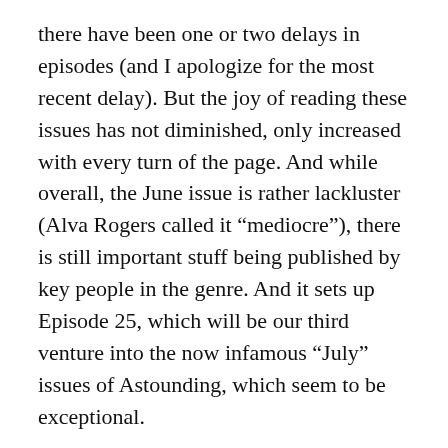there have been one or two delays in episodes (and I apologize for the most recent delay). But the joy of reading these issues has not diminished, only increased with every turn of the page. And while overall, the June issue is rather lackluster (Alva Rogers called it “mediocre”), there is still important stuff being published by key people in the genre. And it sets up Episode 25, which will be our third venture into the now infamous “July” issues of Astounding, which seem to be exceptional.
Having completely the first two years of this massive vacation, I feel rather what Will Durant must have felt as he completed each book in his Story of Civilization. And so it seems only apropos to quote his concluding remarks at the end of his second book in